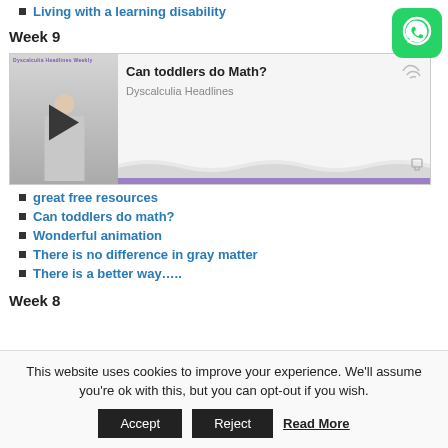Living with a learning disability
Week 9
[Figure (screenshot): Embedded video player showing 'Can toddlers do Math?' from Dyscalculia Headlines, with thumbnail of student and play button]
great free resources
Can toddlers do math?
Wonderful animation
There is no difference in gray matter
There is a better way…...
Week 8
This website uses cookies to improve your experience. We'll assume you're ok with this, but you can opt-out if you wish.